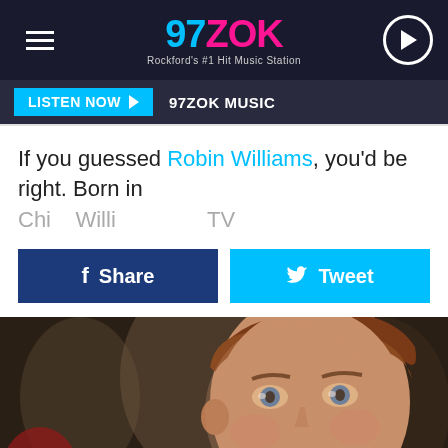97 ZOK - Rockford's #1 Hit Music Station
LISTEN NOW  97ZOK MUSIC
If you guessed Robin Williams, you'd be right. Born in
Share  Tweet
[Figure (photo): Close-up photo of Robin Williams looking slightly to the side, wearing a black shirt, with a crowd visible in the blurred background.]